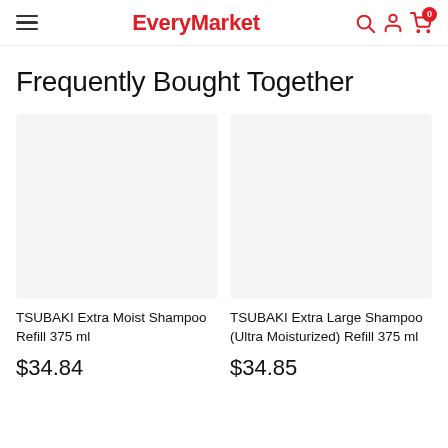EveryMarket
Frequently Bought Together
[Figure (photo): Product image placeholder for TSUBAKI Extra Moist Shampoo Refill 375 ml]
TSUBAKI Extra Moist Shampoo Refill 375 ml
$34.84
[Figure (photo): Product image placeholder for TSUBAKI Extra Large Shampoo (Ultra Moisturized) Refill 375 ml]
TSUBAKI Extra Large Shampoo (Ultra Moisturized) Refill 375 ml
$34.85